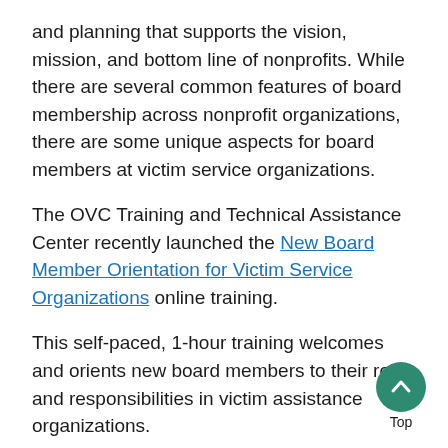and planning that supports the vision, mission, and bottom line of nonprofits. While there are several common features of board membership across nonprofit organizations, there are some unique aspects for board members at victim service organizations.
The OVC Training and Technical Assistance Center recently launched the New Board Member Orientation for Victim Service Organizations online training.
This self-paced, 1-hour training welcomes and orients new board members to their roles and responsibilities in victim assistance organizations.
Combined with onboarding processes, this online training will prepare new board members to govern with care and excellence.